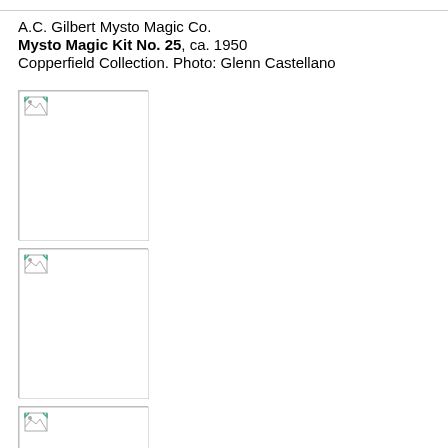A.C. Gilbert Mysto Magic Co.
Mysto Magic Kit No. 25, ca. 1950
Copperfield Collection. Photo: Glenn Castellano
[Figure (photo): First photo placeholder — image not loaded]
[Figure (photo): Second photo placeholder — image not loaded]
[Figure (photo): Third photo placeholder — image not loaded (partially visible)]